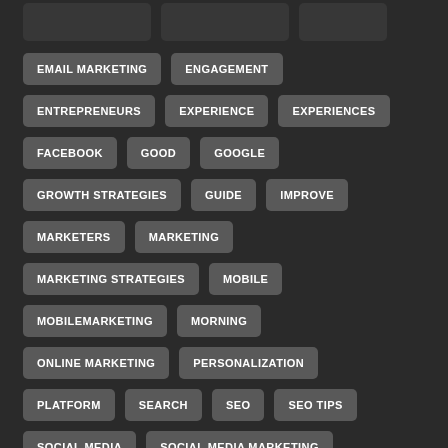EMAIL MARKETING
ENGAGEMENT
ENTREPRENEURS
EXPERIENCE
EXPERIENCES
FACEBOOK
GOOD
GOOGLE
GROWTH STRATEGIES
GUIDE
IMPROVE
MARKETERS
MARKETING
MARKETING STRATEGIES
MOBILE
MOBILEMARKETING
MORNING
ONLINE MARKETING
PERSONALIZATION
PLATFORM
SEARCH
SEO
SEO TIPS
SOCIAL MEDIA
SOCIAL MEDIA MARKETING
TECHNOLOGY